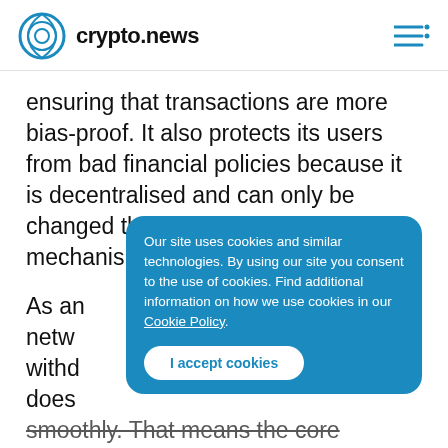crypto.news
ensuring that transactions are more bias-proof. It also protects its users from bad financial policies because it is decentralised and can only be changed through a consensus mechanism.
As an [partially obscured] netw[ork] [partially obscured] withd[rawal] [partially obscured] does [partially obscured] smoothly. That means the core processes
Our site uses cookies and similar technologies. By using our site you consent to the use of cookies. Find additional information on how we use cookies in our Cookie Policy.